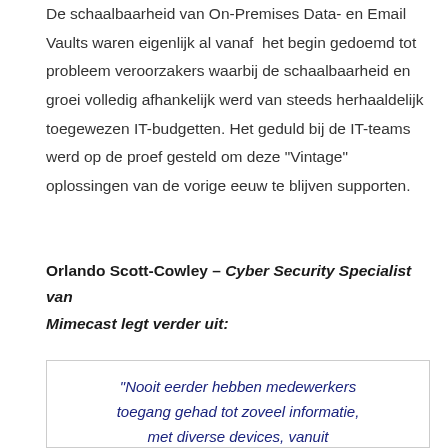De schaalbaarheid van On-Premises Data- en Email Vaults waren eigenlijk al vanaf het begin gedoemd tot probleem veroorzakers waarbij de schaalbaarheid en groei volledig afhankelijk werd van steeds herhaaldelijk toegewezen IT-budgetten. Het geduld bij de IT-teams werd op de proef gesteld om deze "Vintage" oplossingen van de vorige eeuw te blijven supporten.
Orlando Scott-Cowley – Cyber Security Specialist van Mimecast legt verder uit:
"Nooit eerder hebben medewerkers toegang gehad tot zoveel informatie, met diverse devices, vanuit verschillende locaties. De opkomst van